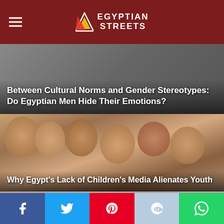Egyptian Streets
Between Cultural Norms and Gender Stereotypes: Do Egyptian Men Hide Their Emotions?
[Figure (photo): Group of smiling Egyptian children huddled together looking at the camera]
Why Egypt's Lack of Children's Media Alienates Youth
[Figure (photo): Hazy aerial or street-level view of Cairo city skyline with smog]
Many Cities in One: Is Cairo's Sprawling Expansion Affecting Social Bonds?
[Figure (infographic): Diagonal stripe pattern section]